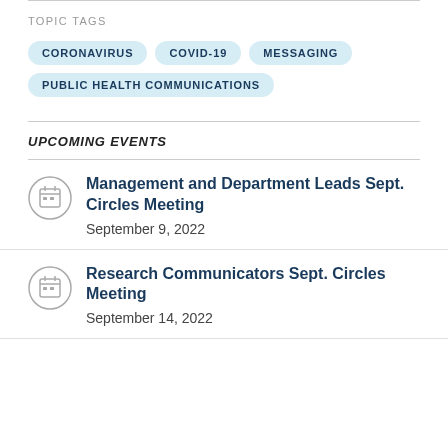TOPIC TAGS
CORONAVIRUS
COVID-19
MESSAGING
PUBLIC HEALTH COMMUNICATIONS
UPCOMING EVENTS
Management and Department Leads Sept. Circles Meeting
September 9, 2022
Research Communicators Sept. Circles Meeting
September 14, 2022